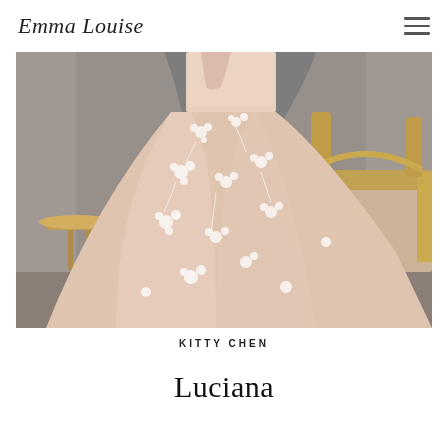Emma Louise
[Figure (photo): A bride wearing a floral lace appliqué ballgown wedding dress with a long flowing skirt in blush/nude tones, photographed in an opulent room with ornate gold furniture and a patterned wallpaper. The dress features intricate 3D floral lace details cascading down the full skirt.]
KITTY CHEN
Luciana